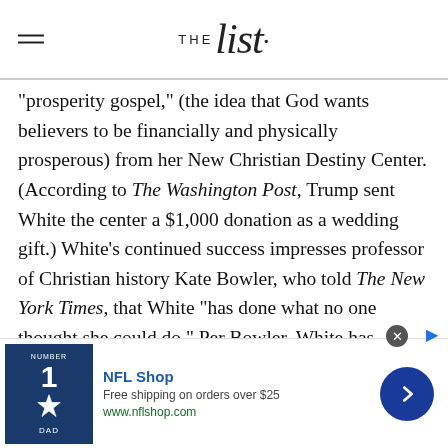THE List
"prosperity gospel," (the idea that God wants believers to be financially and physically prosperous) from her New Christian Destiny Center. (According to The Washington Post, Trump sent White the center a $1,000 donation as a wedding gift.) White's continued success impresses professor of Christian history Kate Bowler, who told The New York Times, that White "has done what no one thought she could do." Per Bowler, White has "scrap[ed] out a place for an unpopular theology beside an unpopular president."
[Figure (other): NFL Shop advertisement banner with Cowboys jersey image, text 'NFL Shop', 'Free shipping on orders over $25', 'www.nflshop.com', and a blue circle chevron button]